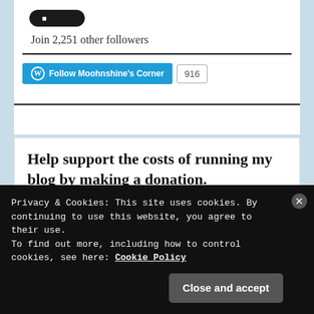[Figure (screenshot): Black rounded rectangle button (partially visible at top)]
Join 2,251 other followers
[Figure (screenshot): WordPress Follow button labeled 'Follow Moohnshine's Corner' in cyan/blue, with follower count badge showing 916]
Help support the costs of running my blog by making a donation.
Choose an amount
Privacy & Cookies: This site uses cookies. By continuing to use this website, you agree to their use.
To find out more, including how to control cookies, see here: Cookie Policy
Close and accept